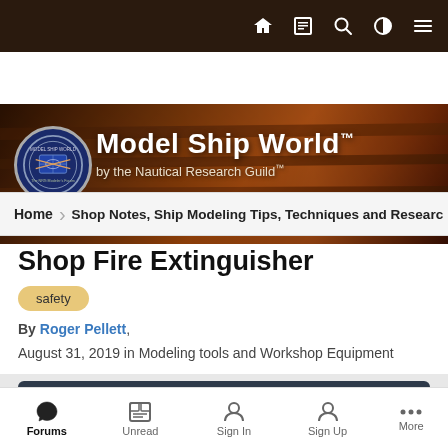[Figure (screenshot): Top navigation bar with dark background and icons: home, news/articles, search, contrast toggle, and menu]
[Figure (photo): Model Ship World banner showing a decorative ship model background with the Model Ship World logo (circular NRG badge) and title text 'Model Ship World™ by the Nautical Research Guild™']
Home › Shop Notes, Ship Modeling Tips, Techniques and Research
Shop Fire Extinguisher
safety
By Roger Pellett, August 31, 2019 in Modeling tools and Workshop Equipment
Reply to this topic
Forums   Unread   Sign In   Sign Up   More